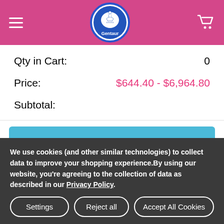[Figure (logo): Gentaur logo — circular blue-bordered badge with white background, centaur figure, text 'Gentaur' below]
Qty in Cart:  0
Price:  $644.40 - $6,964.80
Subtotal:
CHOOSE OPTIONS
MBS849520 | EasyRNA Plant RNA Mini Kit
We use cookies (and other similar technologies) to collect data to improve your shopping experience.By using our website, you're agreeing to the collection of data as described in our Privacy Policy.
Settings
Reject all
Accept All Cookies